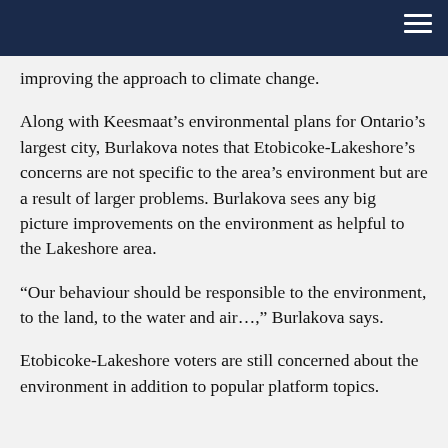Navigation bar
improving the approach to climate change.
Along with Keesmaat’s environmental plans for Ontario’s largest city, Burlakova notes that Etobicoke-Lakeshore’s concerns are not specific to the area’s environment but are a result of larger problems. Burlakova sees any big picture improvements on the environment as helpful to the Lakeshore area.
“Our behaviour should be responsible to the environment, to the land, to the water and air…,” Burlakova says.
Etobicoke-Lakeshore voters are still concerned about the environment in addition to popular platform topics.